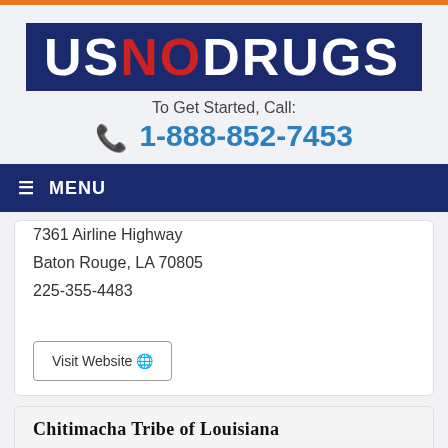[Figure (logo): US NO DRUGS logo — dark navy background with white text for US and DRUGS, red text for NO]
To Get Started, Call:
1-888-852-7453
≡ MENU
7361 Airline Highway
Baton Rouge, LA 70805
225-355-4483
Visit Website 🌐
Chitimacha Tribe of Louisiana
Human Services
3231 Chitimacha Trail
Charenton, LA 70523
337-923-7000